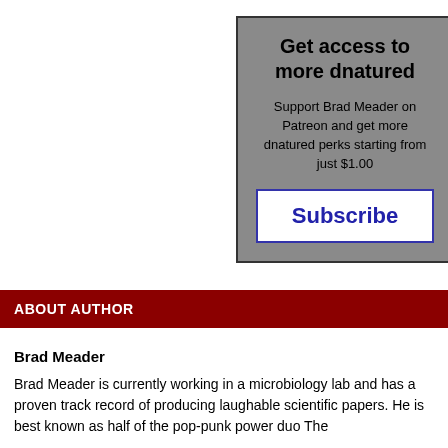[Figure (infographic): Subscription call-to-action box with gray background showing title 'Get access to more dnatured', body text about supporting Brad Meader on Patreon starting from $1.00, and a white Subscribe button with blue border and blue text.]
ABOUT AUTHOR
Brad Meader
Brad Meader is currently working in a microbiology lab and has a proven track record of producing laughable scientific papers. He is best known as half of the pop-punk power duo The